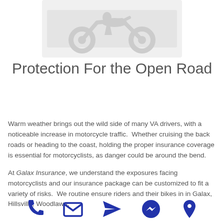[Figure (photo): Faded/watermark-style image of a motorcycle or open road scene at the top of the page]
Protection For the Open Road
Warm weather brings out the wild side of many VA drivers, with a noticeable increase in motorcycle traffic.  Whether cruising the back roads or heading to the coast, holding the proper insurance coverage is essential for motorcyclists, as danger could be around the bend.
At Galax Insurance, we understand the exposures facing motorcyclists and our insurance package can be customized to fit a variety of risks.  We routine ensure riders and their bikes in in Galax, Hillsville, Woodlawn,